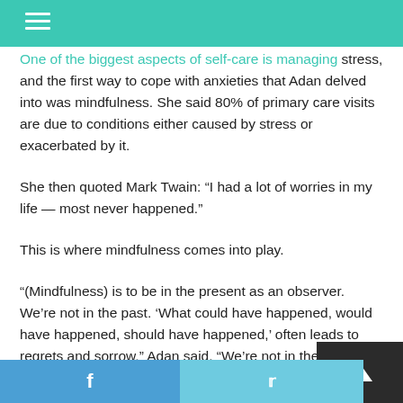One of the biggest aspects of self-care is managing stress, and the first way to cope with anxieties that Adan delved into was mindfulness. She said 80% of primary care visits are due to conditions either caused by stress or exacerbated by it.
She then quoted Mark Twain: “I had a lot of worries in my life — most never happened.”
This is where mindfulness comes into play.
“(Mindfulness) is to be in the present as an observer. We’re not in the past. ‘What could have happened, would have happened, should have happened,’ often leads to regrets and sorrow,” Adan said. “We’re not in the future, the ‘to-do’ list, the worries that lead to anxiety. We’re in the present, as an active observer.”